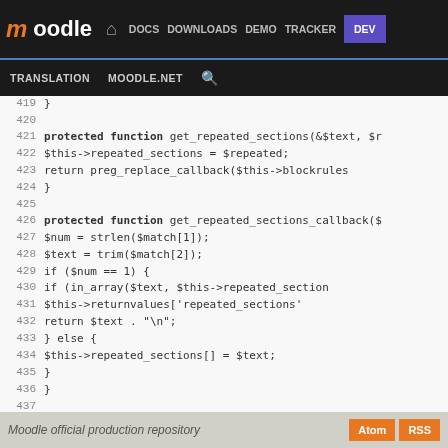moodle DOCS DOWNLOADS DEMO TRACKER DEV
TRANSLATION MOODLE.NET search
[Figure (screenshot): Code viewer showing PHP source lines 419-441 of a Moodle repository file, with line numbers on the left and syntax-highlighted code on the right.]
Moodle official production repository   Atom  RSS